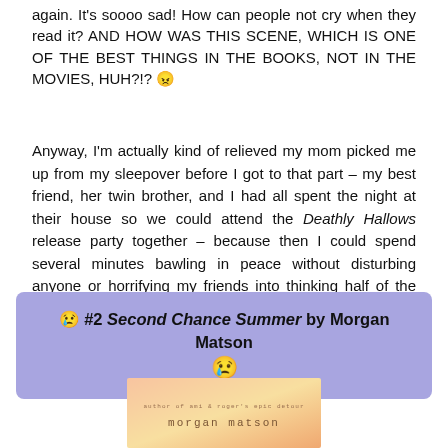again. It's soooo sad! How can people not cry when they read it? AND HOW WAS THIS SCENE, WHICH IS ONE OF THE BEST THINGS IN THE BOOKS, NOT IN THE MOVIES, HUH?!? 😠
Anyway, I'm actually kind of relieved my mom picked me up from my sleepover before I got to that part – my best friend, her twin brother, and I had all spent the night at their house so we could attend the Deathly Hallows release party together – because then I could spend several minutes bawling in peace without disturbing anyone or horrifying my friends into thinking half of the characters had died or something…
😢 #2 Second Chance Summer by Morgan Matson 😢
[Figure (photo): Book cover of Second Chance Summer by Morgan Matson with peach/orange gradient background showing author name]